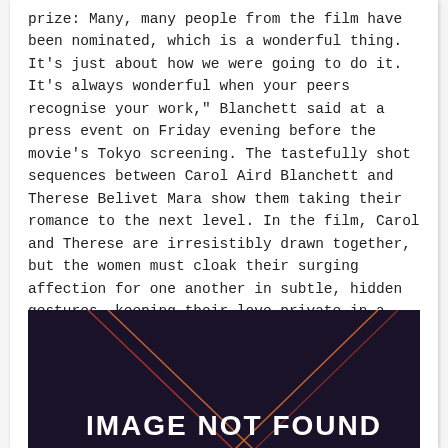prize: Many, many people from the film have been nominated, which is a wonderful thing. It's just about how we were going to do it. It's always wonderful when your peers recognise your work," Blanchett said at a press event on Friday evening before the movie's Tokyo screening. The tastefully shot sequences between Carol Aird Blanchett and Therese Belivet Mara show them taking their romance to the next level. In the film, Carol and Therese are irresistibly drawn together, but the women must cloak their surging affection for one another in subtle, hidden gestures, keeping their love private in a conservative, male-dominated world.
[Figure (other): Image not found placeholder — dark navy/purple background with diagonal orange and pink/red lines crossing, and bold white text reading 'IMAGE NOT FOUND' in the lower center.]